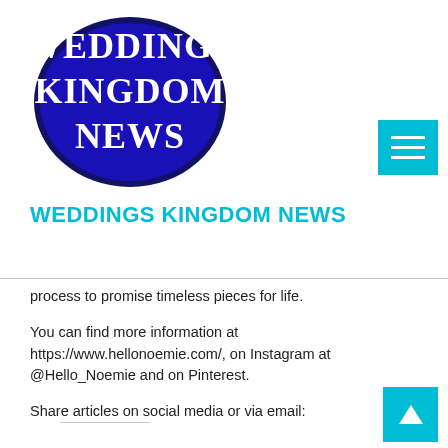[Figure (logo): Weddings Kingdom News logo: blue oval/ellipse with white serif text reading WEDDINGS KINGDOM NEWS]
WEDDINGS KINGDOM NEWS
process to promise timeless pieces for life.
You can find more information at https://www.hellonoemie.com/, on Instagram at @Hello_Noemie and on Pinterest.
Share articles on social media or via email: